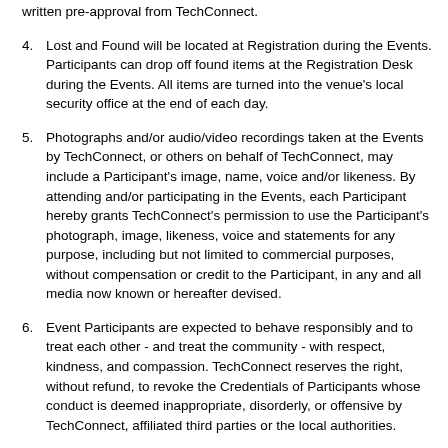written pre-approval from TechConnect.
4. Lost and Found will be located at Registration during the Events. Participants can drop off found items at the Registration Desk during the Events. All items are turned into the venue's local security office at the end of each day.
5. Photographs and/or audio/video recordings taken at the Events by TechConnect, or others on behalf of TechConnect, may include a Participant's image, name, voice and/or likeness. By attending and/or participating in the Events, each Participant hereby grants TechConnect's permission to use the Participant's photograph, image, likeness, voice and statements for any purpose, including but not limited to commercial purposes, without compensation or credit to the Participant, in any and all media now known or hereafter devised.
6. Event Participants are expected to behave responsibly and to treat each other - and treat the community - with respect, kindness, and compassion. TechConnect reserves the right, without refund, to revoke the Credentials of Participants whose conduct is deemed inappropriate, disorderly, or offensive by TechConnect, affiliated third parties or the local authorities.